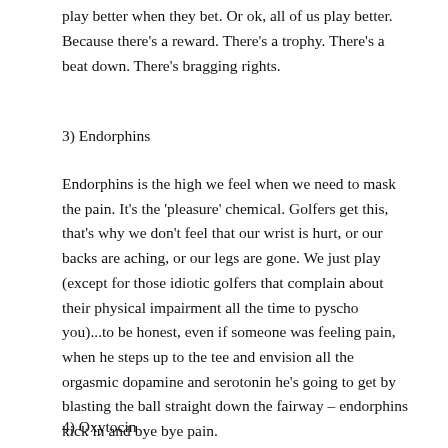play better when they bet. Or ok, all of us play better. Because there's a reward. There's a trophy. There's a beat down. There's bragging rights.
3) Endorphins
Endorphins is the high we feel when we need to mask the pain. It's the 'pleasure' chemical. Golfers get this, that's why we don't feel that our wrist is hurt, or our backs are aching, or our legs are gone. We just play (except for those idiotic golfers that complain about their physical impairment all the time to pyscho you)...to be honest, even if someone was feeling pain, when he steps up to the tee and envision all the orgasmic dopamine and serotonin he's going to get by blasting the ball straight down the fairway – endorphins kick in and bye bye pain.
4) Oxytocin